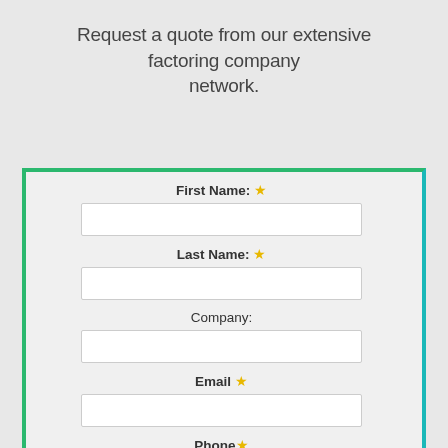Request a quote from our extensive factoring company network.
[Figure (other): Web form with fields: First Name (required), Last Name (required), Company, Email (required), Phone (required). Bordered card with teal/green border.]